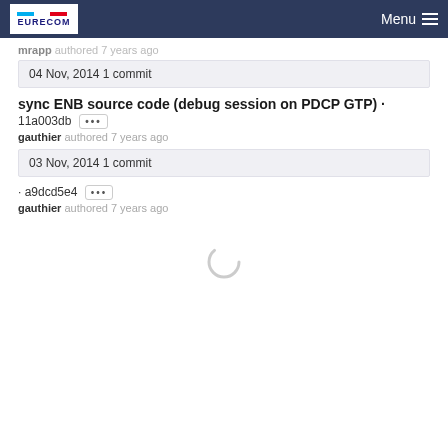EURECOM | Menu
mrapp authored 7 years ago
04 Nov, 2014 1 commit
sync ENB source code (debug session on PDCP GTP) · 11a003db [...]
gauthier authored 7 years ago
03 Nov, 2014 1 commit
· a9dcd5e4 [...]
gauthier authored 7 years ago
[Figure (other): Loading spinner circle animation indicator]